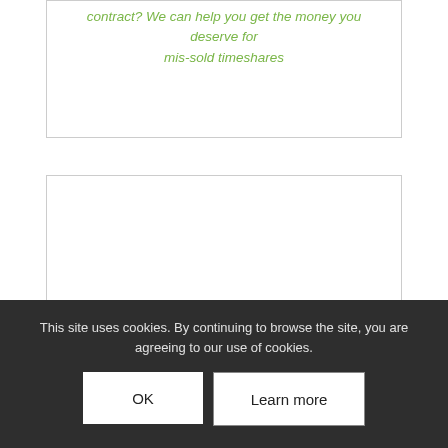contract? We can help you get the money you deserve for mis-sold timeshares
[Figure (other): Empty white content box with border]
This site uses cookies. By continuing to browse the site, you are agreeing to our use of cookies.